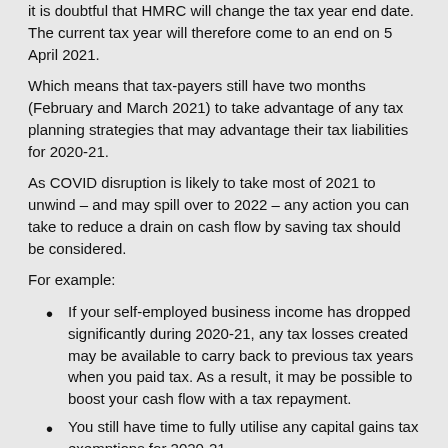it is doubtful that HMRC will change the tax year end date. The current tax year will therefore come to an end on 5 April 2021.
Which means that tax-payers still have two months (February and March 2021) to take advantage of any tax planning strategies that may advantage their tax liabilities for 2020-21.
As COVID disruption is likely to take most of 2021 to unwind – and may spill over to 2022 – any action you can take to reduce a drain on cash flow by saving tax should be considered.
For example:
If your self-employed business income has dropped significantly during 2020-21, any tax losses created may be available to carry back to previous tax years when you paid tax. As a result, it may be possible to boost your cash flow with a tax repayment.
You still have time to fully utilise any capital gains tax exemptions for 2020-21.